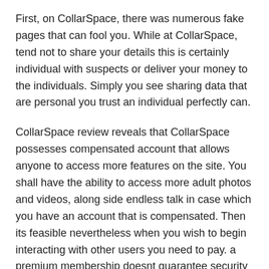First, on CollarSpace, there was numerous fake pages that can fool you. While at CollarSpace, tend not to share your details this is certainly individual with suspects or deliver your money to the individuals. Simply you see sharing data that are personal you trust an individual perfectly can.
CollarSpace review reveals that CollarSpace possesses compensated account that allows anyone to access more features on the site. You shall have the ability to access more adult photos and videos, along side endless talk in case which you have an account that is compensated. Then its feasible nevertheless when you wish to begin interacting with other users you need to pay. a premium membership doesnt guarantee security that is additional it just provides access to more premium profiles if youd like to utilize CollarSpace 100% free. You'll find the rates down for the compensated registration